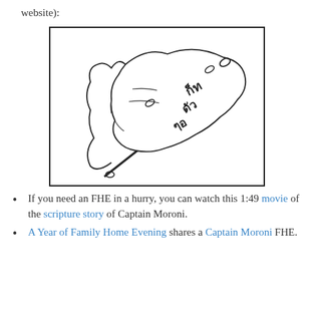website):
[Figure (illustration): A hand-drawn sketch of the Title of Liberty — a torn piece of cloth or flag with ancient-looking script/glyphs written on it, rendered in black ink line art style.]
If you need an FHE in a hurry, you can watch this 1:49 movie of the scripture story of Captain Moroni.
A Year of Family Home Evening shares a Captain Moroni FHE.